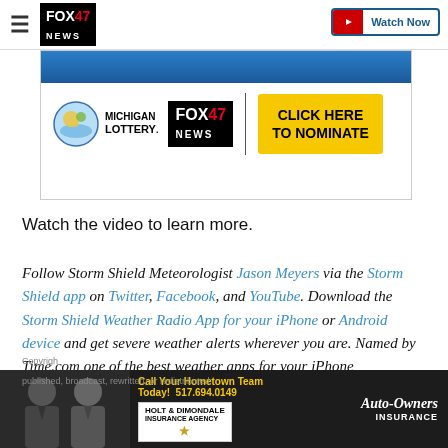FOX 47 NEWS — Watch Now
[Figure (screenshot): Michigan Lottery and FOX 47 News advertisement banner with 'Click Here To Nominate' button]
Watch the video to learn more.
Follow Storm Shield Meteorologist Jason Meyers via the Storm Shield app on Twitter, Facebook, and YouTube. Download the Storm Shield Weather Radio App for your iPhone or Android device and get severe weather alerts wherever you are. Named by Time.com one of the best weather apps for your iPhone
[Figure (screenshot): Auto-Owners Insurance advertisement with Call Your Hometown Team Today 517.694.0149]
Copyright ... published, broadcast, rewritten, or redistributed